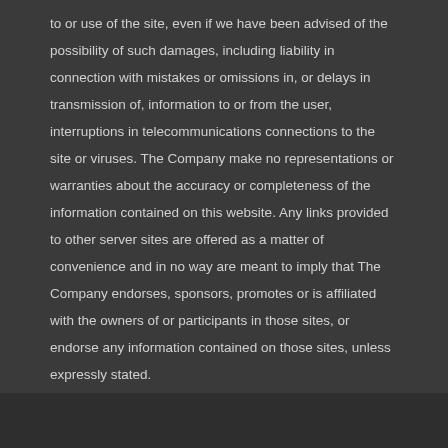to or use of the site, even if we have been advised of the possibility of such damages, including liability in connection with mistakes or omissions in, or delays in transmission of, information to or from the user, interruptions in telecommunications connections to the site or viruses. The Company make no representations or warranties about the accuracy or completeness of the information contained on this website. Any links provided to other server sites are offered as a matter of convenience and in no way are meant to imply that The Company endorses, sponsors, promotes or is affiliated with the owners of or participants in those sites, or endorse any information contained on those sites, unless expressly stated.